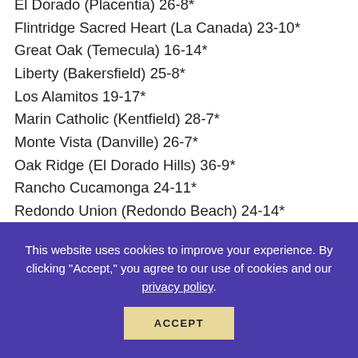El Dorado (Placentia) 26-8*
Flintridge Sacred Heart (La Canada) 23-10*
Great Oak (Temecula) 16-14*
Liberty (Bakersfield) 25-8*
Los Alamitos 19-17*
Marin Catholic (Kentfield) 28-7*
Monte Vista (Danville) 26-7*
Oak Ridge (El Dorado Hills) 36-9*
Rancho Cucamonga 24-11*
Redondo Union (Redondo Beach) 24-14*
Redwood (Larkspur) 23-15*
San Benito (Hollister) 31-7*
San Juan Hills (SJ Capistrano) 24-3*
Sonora 25-8*
This website uses cookies to improve your experience. By clicking "Accept," you agree to our use of cookies and our privacy policy.